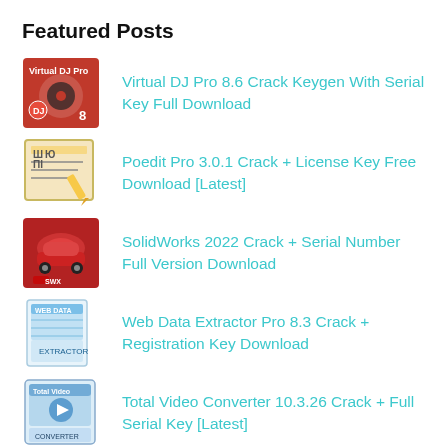Featured Posts
Virtual DJ Pro 8.6 Crack Keygen With Serial Key Full Download
Poedit Pro 3.0.1 Crack + License Key Free Download [Latest]
SolidWorks 2022 Crack + Serial Number Full Version Download
Web Data Extractor Pro 8.3 Crack + Registration Key Download
Total Video Converter 10.3.26 Crack + Full Serial Key [Latest]